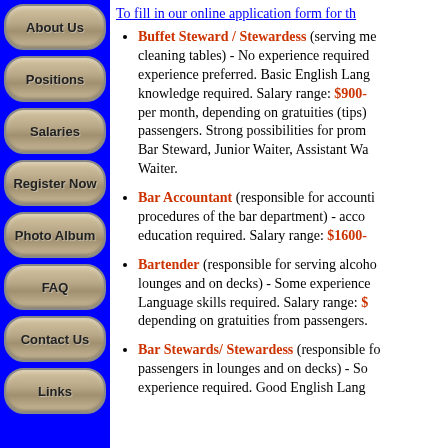About Us
Positions
Salaries
Register Now
Photo Album
FAQ
Contact Us
Links
To fill in our online application form for th
Buffet Steward / Stewardess (serving me... cleaning tables) - No experience required, experience preferred. Basic English Lang... knowledge required. Salary range: $900- per month, depending on gratuities (tips)... passengers. Strong possibilities for promo... Bar Steward, Junior Waiter, Assistant Wa... Waiter.
Bar Accountant (responsible for accounti... procedures of the bar department) - acco... education required. Salary range: $1600-
Bartender (responsible for serving alcoho... lounges and on decks) - Some experience... Language skills required. Salary range: $... depending on gratuities from passengers.
Bar Stewards/ Stewardess (responsible fo... passengers in lounges and on decks) - So... experience required. Good English Lang...